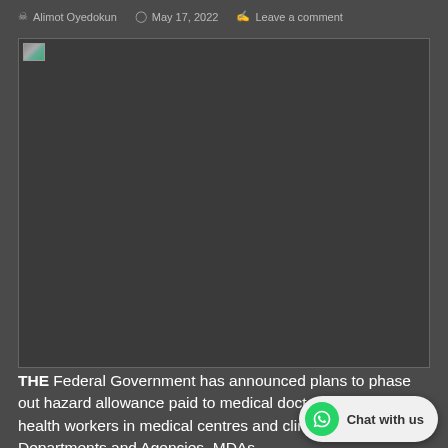Alimot Oyedokun   May 17, 2022   Leave a comment
[Figure (photo): A photo that failed to load, shown as a broken image placeholder with a small landscape thumbnail icon in the top-left corner]
THE Federal Government has announced plans to phase out hazard allowance paid to medical doctors and other health workers in medical centres and clinics in Ministries, Departments and Agencies, MDAs.
A circular by the National Salaries, Incomes and Wages